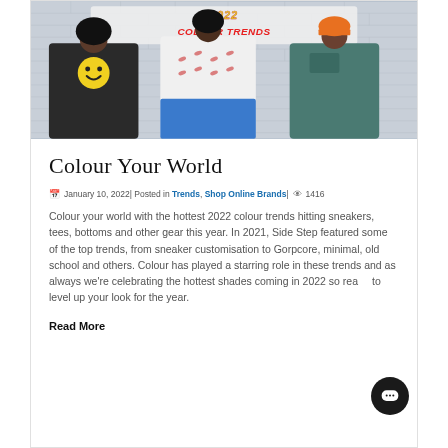[Figure (photo): Three young men standing against a white brick wall. Left: black t-shirt with yellow smiley face. Center: white t-shirt with red Nike logos, blue shorts. Right: teal/dark green t-shirt. Behind them a colorful banner reading '2022 COLOUR TRENDS'.]
Colour Your World
January 10, 2022| Posted in Trends, Shop Online Brands| 1416
Colour your world with the hottest 2022 colour trends hitting sneakers, tees, bottoms and other gear this year. In 2021, Side Step featured some of the top trends, from sneaker customisation to Gorpcore, minimal, old school and others. Colour has played a starring role in these trends and as always we're celebrating the hottest shades coming in 2022 so ready to level up your look for the year.
Read More